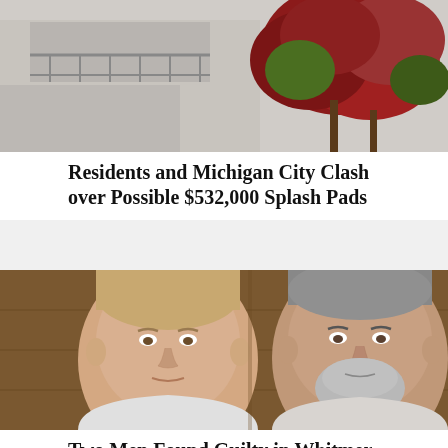[Figure (photo): Partial view of a building exterior with red-leafed trees in autumn, architectural elements visible including railings]
Residents and Michigan City Clash over Possible $532,000 Splash Pads
[Figure (photo): Mugshot-style photo of two men side by side: a younger clean-shaven man on the left and an older man with a grey beard on the right, appearing to be in a courtroom or official setting]
Two Men Found Guilty in Whitmer Kidnapping Plot